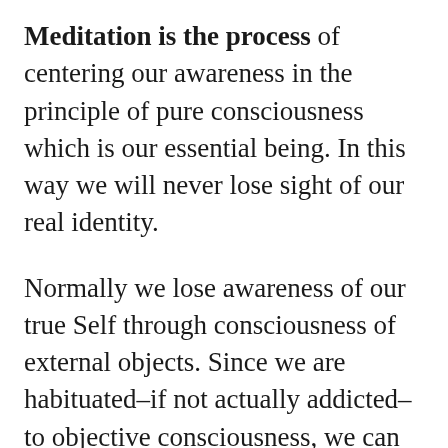Meditation is the process of centering our awareness in the principle of pure consciousness which is our essential being. In this way we will never lose sight of our real identity.
Normally we lose awareness of our true Self through consciousness of external objects. Since we are habituated–if not actually addicted–to objective consciousness, we can use that very condition to our advantage.
Rather than disperse our consciousness through objects that draw us outward, away from the source of our being, we can take an